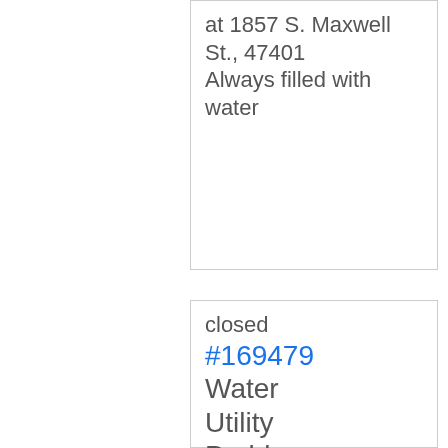at 1857 S. Maxwell St., 47401 Always filled with water
closed #169479 Water Utility Problems 1246 E Tylers TURN Case Date: 7/19/2 The water